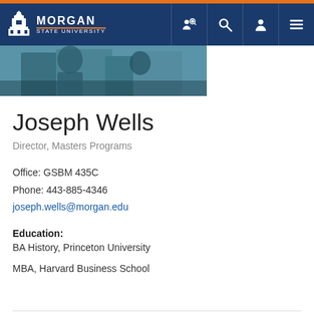Morgan State University
[Figure (photo): Partial photo of a person at a desk or event, cropped at top, teal/blue tones]
Joseph Wells
Director, Masters Programs
Office: GSBM 435C
Phone: 443-885-4346
joseph.wells@morgan.edu
Education:
BA History, Princeton University
MBA, Harvard Business School